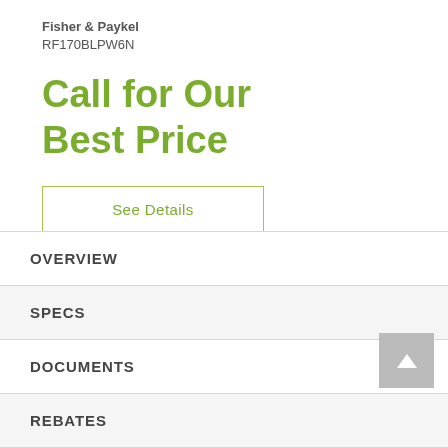Fisher & Paykel
RF170BLPW6N
Call for Our Best Price
See Details
OVERVIEW
SPECS
DOCUMENTS
REBATES